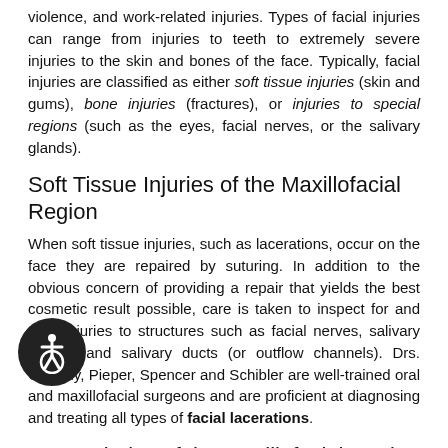violence, and work-related injuries. Types of facial injuries can range from injuries to teeth to extremely severe injuries to the skin and bones of the face. Typically, facial injuries are classified as either soft tissue injuries (skin and gums), bone injuries (fractures), or injuries to special regions (such as the eyes, facial nerves, or the salivary glands).
Soft Tissue Injuries of the Maxillofacial Region
When soft tissue injuries, such as lacerations, occur on the face they are repaired by suturing. In addition to the obvious concern of providing a repair that yields the best cosmetic result possible, care is taken to inspect for and treat injuries to structures such as facial nerves, salivary glands, and salivary ducts (or outflow channels). Drs. Cassidy, Pieper, Spencer and Schibler are well-trained oral and maxillofacial surgeons and are proficient at diagnosing and treating all types of facial lacerations.
Bone Injuries of the Maxillofacial Region
Fractures to the bones in the face are treated in a similar manner to fractures in other parts of the body. The specific form of treatment is determined by various factors, which include the location of the fracture, the severity of the fracture, and the age and general health of the patient. When an arm or leg is fractured a cast is often applied to stabilize the bone to allow for proper healing. Since a cast cannot be